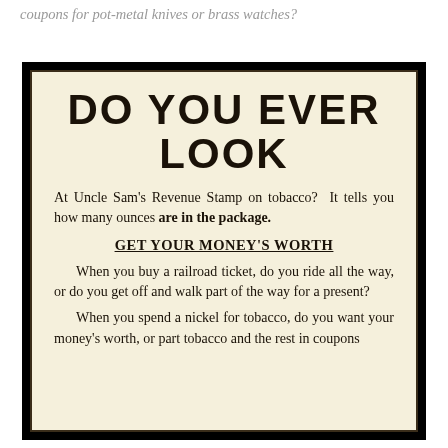coupons for pot-metal knives or brass watches?
[Figure (photo): Vintage tobacco advertising card on cream/beige background with black border, containing text about Uncle Sam's Revenue Stamp on tobacco]
DO YOU EVER LOOK
At Uncle Sam's Revenue Stamp on tobacco? It tells you how many ounces are in the package.
GET YOUR MONEY'S WORTH
When you buy a railroad ticket, do you ride all the way, or do you get off and walk part of the way for a present?
When you spend a nickel for tobacco, do you want your money's worth, or part tobacco and the rest in coupons